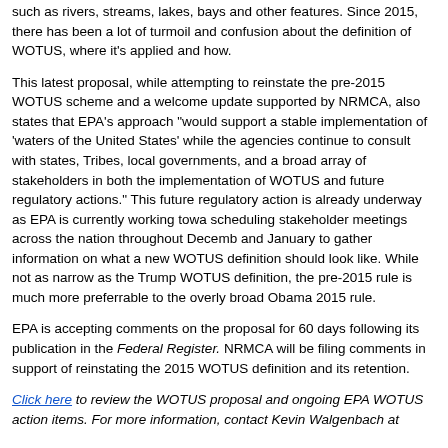such as rivers, streams, lakes, bays and other features. Since 2015, there has been a lot of turmoil and confusion about the definition of WOTUS, where it's applied and how.
This latest proposal, while attempting to reinstate the pre-2015 WOTUS scheme and a welcome update supported by NRMCA, also states that EPA's approach "would support a stable implementation of 'waters of the United States' while the agencies continue to consult with states, Tribes, local governments, and a broad array of stakeholders in both the implementation of WOTUS and future regulatory actions." This future regulatory action is already underway as EPA is currently working toward scheduling stakeholder meetings across the nation throughout December and January to gather information on what a new WOTUS definition should look like. While not as narrow as the Trump WOTUS definition, the pre-2015 rule is much more preferrable to the overly broad Obama 2015 rule.
EPA is accepting comments on the proposal for 60 days following its publication in the Federal Register. NRMCA will be filing comments in support of reinstating the 2015 WOTUS definition and its retention.
Click here to review the WOTUS proposal and ongoing EPA WOTUS action items. For more information, contact Kevin Walgenbach at